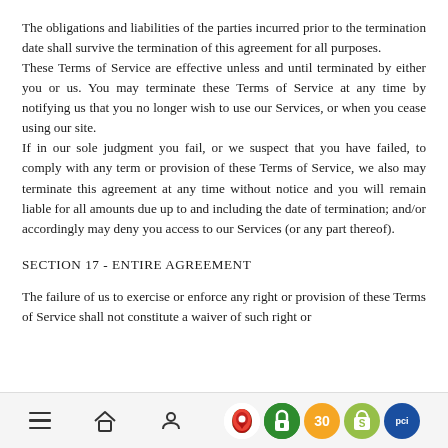The obligations and liabilities of the parties incurred prior to the termination date shall survive the termination of this agreement for all purposes.
These Terms of Service are effective unless and until terminated by either you or us. You may terminate these Terms of Service at any time by notifying us that you no longer wish to use our Services, or when you cease using our site.
If in our sole judgment you fail, or we suspect that you have failed, to comply with any term or provision of these Terms of Service, we also may terminate this agreement at any time without notice and you will remain liable for all amounts due up to and including the date of termination; and/or accordingly may deny you access to our Services (or any part thereof).
SECTION 17 - ENTIRE AGREEMENT
The failure of us to exercise or enforce any right or provision of these Terms of Service shall not constitute a waiver of such right or